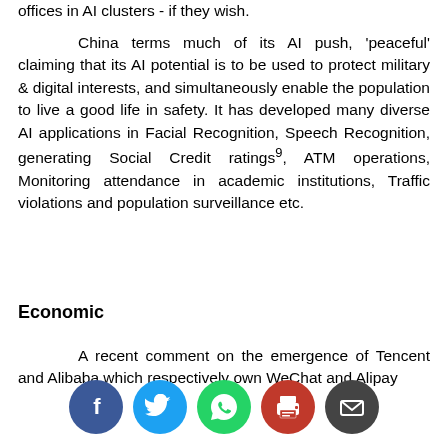offices in AI clusters - if they wish.
China terms much of its AI push, ‘peaceful’ claiming that its AI potential is to be used to protect military & digital interests, and simultaneously enable the population to live a good life in safety. It has developed many diverse AI applications in Facial Recognition, Speech Recognition, generating Social Credit ratings⁹, ATM operations, Monitoring attendance in academic institutions, Traffic violations and population surveillance etc.
Economic
A recent comment on the emergence of Tencent and Alibaba which respectively own WeChat and Alipay
[Figure (infographic): Row of five social media/sharing icon circles: Facebook (dark blue, f), Twitter (light blue, bird), WhatsApp (green, phone), Print (red, printer), Email (dark grey, envelope)]